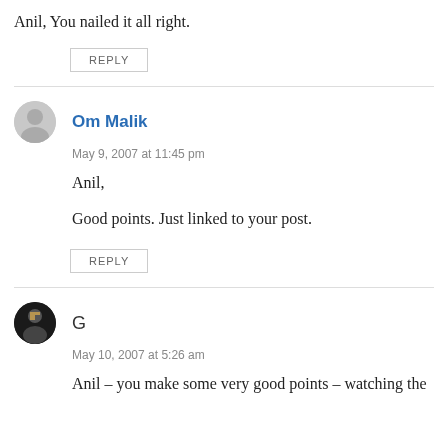Anil, You nailed it all right.
REPLY
Om Malik
May 9, 2007 at 11:45 pm
Anil,
Good points. Just linked to your post.
REPLY
G
May 10, 2007 at 5:26 am
Anil – you make some very good points – watching the